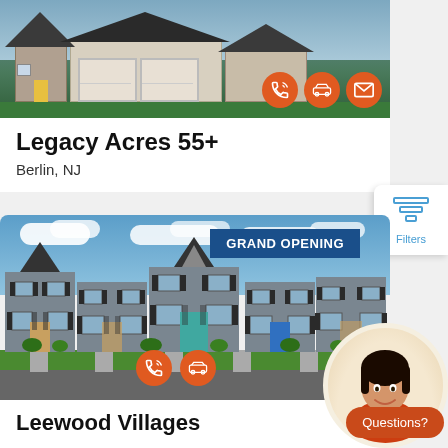[Figure (photo): Photo of a suburban house with garage, stone facade, green lawn, with three orange circular icon buttons (phone, car, envelope) in the bottom right]
Legacy Acres 55+
Berlin, NJ
[Figure (photo): Photo of a townhouse community with multiple units, blue sky and clouds background. Grand Opening badge in top right. Two orange circular icon buttons (phone, car) at bottom center. Female agent avatar in bottom right corner.]
Leewood Villages
Questions?